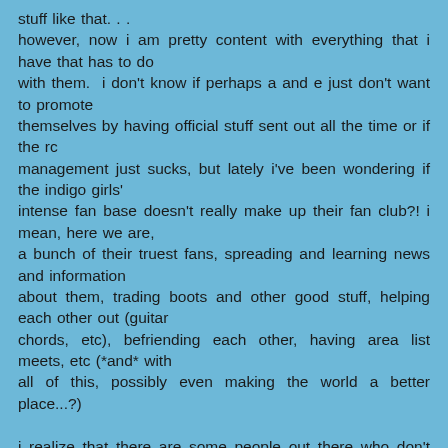stuff like that. . . however, now i am pretty content with everything that i have that has to do with them.  i don't know if perhaps a and e just don't want to promote themselves by having official stuff sent out all the time or if the rc management just sucks, but lately i've been wondering if the indigo girls' intense fan base doesn't really make up their fan club?! i mean, here we are, a bunch of their truest fans, spreading and learning news and information about them, trading boots and other good stuff, helping each other out (guitar chords, etc), befriending each other, having area list meets, etc (*and* with all of this, possibly even making the world a better place...?)

i realize that there are some people out there who don't have access to email or the internet, and/or who may not get to ever see them in concert.  and i completely feel for these fans, and wish they could be as